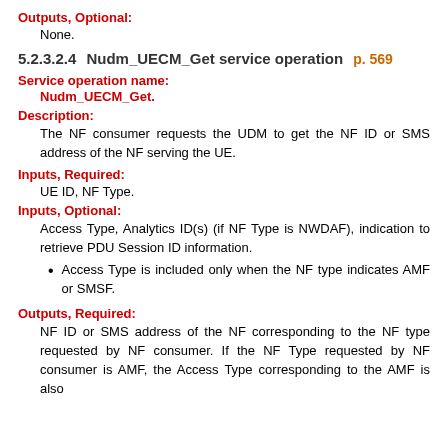Outputs, Optional:
None.
5.2.3.2.4  Nudm_UECM_Get service operation  p. 569
Service operation name:
Nudm_UECM_Get.
Description:
The NF consumer requests the UDM to get the NF ID or SMS address of the NF serving the UE.
Inputs, Required:
UE ID, NF Type.
Inputs, Optional:
Access Type, Analytics ID(s) (if NF Type is NWDAF), indication to retrieve PDU Session ID information.
Access Type is included only when the NF type indicates AMF or SMSF.
Outputs, Required:
NF ID or SMS address of the NF corresponding to the NF type requested by NF consumer. If the NF Type requested by NF consumer is AMF, the Access Type corresponding to the AMF is also